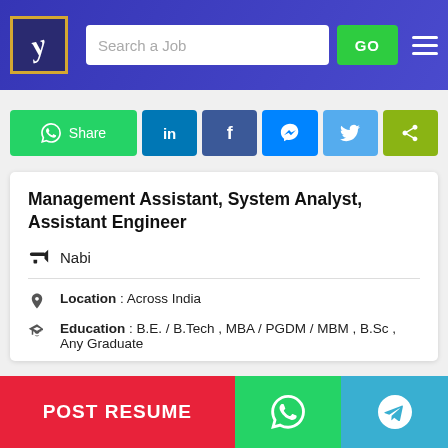Job portal header with logo, search bar, GO button, and hamburger menu
[Figure (screenshot): Social share bar with WhatsApp Share, LinkedIn, Facebook, Messenger, Twitter, and generic share buttons]
Management Assistant, System Analyst, Assistant Engineer
Nabi
Location : Across India
Education : B.E. / B.Tech , MBA / PGDM / MBM , B.Sc , Any Graduate
[Figure (screenshot): Bottom action bar with POST RESUME button, WhatsApp icon button, and Telegram icon button]